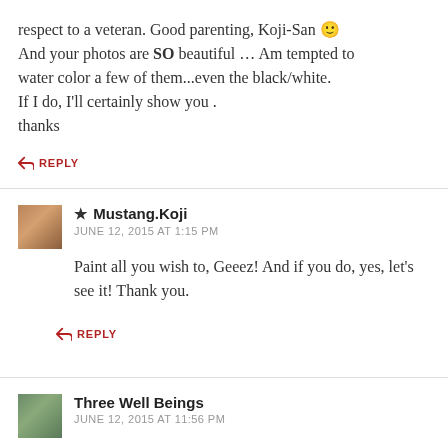respect to a veteran. Good parenting, Koji-San 🙂 And your photos are SO beautiful … Am tempted to water color a few of them...even the black/white. If I do, I'll certainly show you . thanks
↪ REPLY
★ Mustang.Koji
JUNE 12, 2015 AT 1:15 PM
Paint all you wish to, Geeez! And if you do, yes, let's see it! Thank you.
↪ REPLY
Three Well Beings
JUNE 12, 2015 AT 11:56 PM